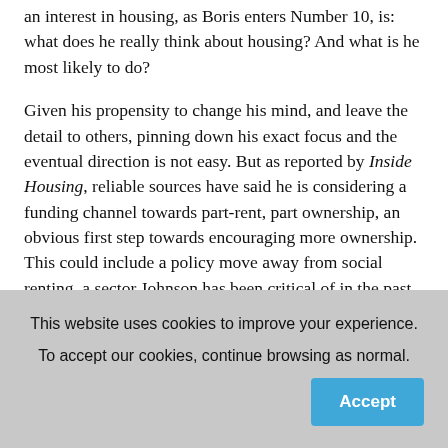an interest in housing, as Boris enters Number 10, is: what does he really think about housing? And what is he most likely to do?
Given his propensity to change his mind, and leave the detail to others, pinning down his exact focus and the eventual direction is not easy. But as reported by Inside Housing, reliable sources have said he is considering a funding channel towards part-rent, part ownership, an obvious first step towards encouraging more ownership. This could include a policy move away from social renting, a sector Johnson has been critical of in the past.
This website uses cookies to improve your experience. To accept our cookies, continue browsing as normal.